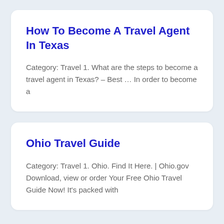How To Become A Travel Agent In Texas
Category: Travel 1. What are the steps to become a travel agent in Texas? – Best … In order to become a
Ohio Travel Guide
Category: Travel 1. Ohio. Find It Here. | Ohio.gov Download, view or order Your Free Ohio Travel Guide Now! It's packed with